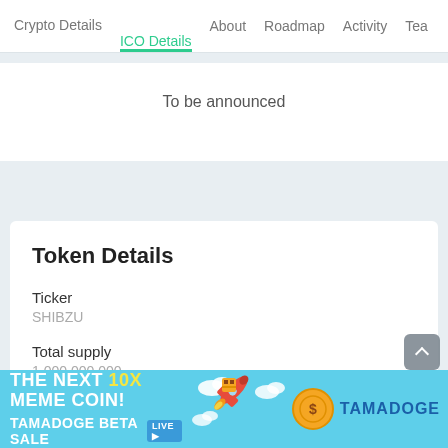Crypto Details  ICO Details  About  Roadmap  Activity  Tea
To be announced
Token Details
Ticker
SHIBZU
Total supply
1,000,000,000
Token Distribution
- 7% BUY TAX
[Figure (screenshot): Tamadoge advertisement banner: 'THE NEXT 10X MEME COIN! TAMADOGE BETA SALE LIVE' with cartoon rocket and Tamadoge coin logo on cyan background]